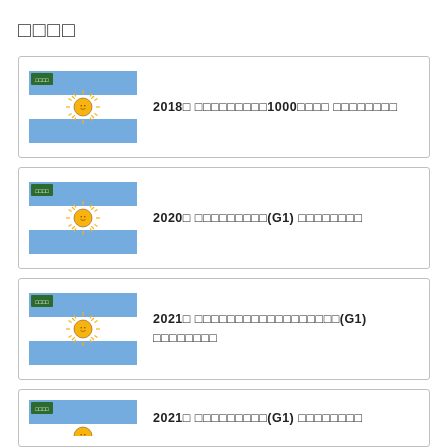□□□□
2018□ □□□□□□□□□1000□□□□ □□□□□□□□
2020□ □□□□□□□□□(G1) □□□□□□□□
2021□ □□□□□□□□□□□□□□□□□□(G1) □□□□□□□□
2021□ □□□□□□□□□(G1) □□□□□□□□